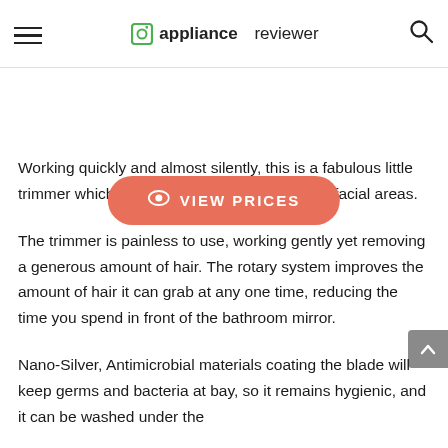appliance reviewer
[Figure (other): VIEW PRICES button with eye icon]
Working quickly and almost silently, this is a fabulous little trimmer which will cover most of your delicate facial areas.
The trimmer is painless to use, working gently yet removing a generous amount of hair. The rotary system improves the amount of hair it can grab at any one time, reducing the time you spend in front of the bathroom mirror.
Nano-Silver, Antimicrobial materials coating the blade will keep germs and bacteria at bay, so it remains hygienic, and it can be washed under the